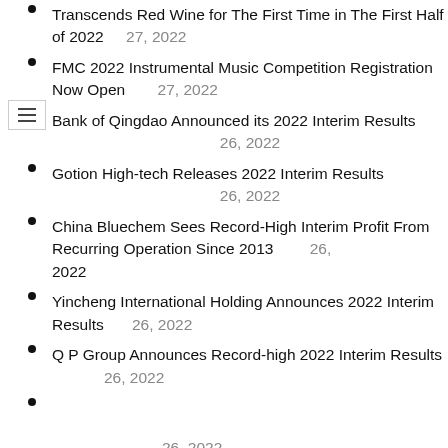Transcends Red Wine for The First Time in The First Half of 2022   27, 2022
FMC 2022 Instrumental Music Competition Registration Now Open   27, 2022
Bank of Qingdao Announced its 2022 Interim Results   26, 2022
Gotion High-tech Releases 2022 Interim Results   26, 2022
China Bluechem Sees Record-High Interim Profit From Recurring Operation Since 2013   26, 2022
Yincheng International Holding Announces 2022 Interim Results   26, 2022
Q P Group Announces Record-high 2022 Interim Results   26, 2022
26, 2022